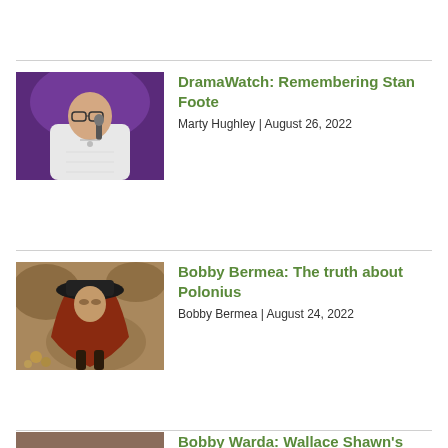[Figure (photo): Photo of a man in white shirt speaking into a microphone on a purple-lit stage]
DramaWatch: Remembering Stan Foote
Marty Hughley | August 26, 2022
[Figure (photo): Painting of a cloaked figure wearing a dark hat, in warm earthy tones]
Bobby Bermea: The truth about Polonius
Bobby Bermea | August 24, 2022
[Figure (photo): Partial photo at bottom of page, cut off]